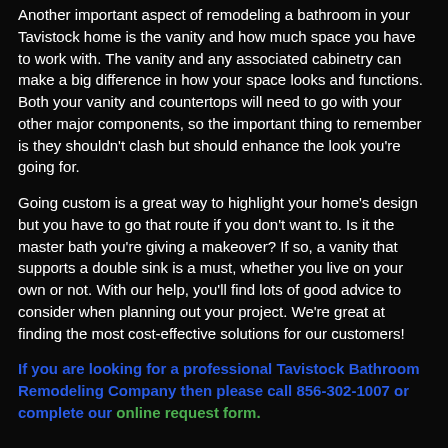Another important aspect of remodeling a bathroom in your Tavistock home is the vanity and how much space you have to work with. The vanity and any associated cabinetry can make a big difference in how your space looks and functions. Both your vanity and countertops will need to go with your other major components, so the important thing to remember is they shouldn't clash but should enhance the look you're going for.
Going custom is a great way to highlight your home's design but you have to go that route if you don't want to. Is it the master bath you're giving a makeover? If so, a vanity that supports a double sink is a must, whether you live on your own or not. With our help, you'll find lots of good advice to consider when planning out your project. We're great at finding the most cost-effective solutions for our customers!
If you are looking for a professional Tavistock Bathroom Remodeling Company then please call 856-302-1007 or complete our online request form.